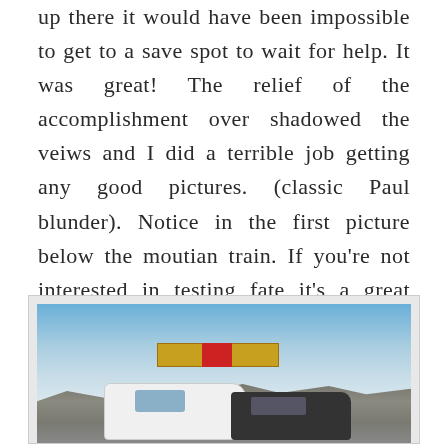up there it would have been impossible to get to a save spot to wait for help. It was great! The relief of the accomplishment over shadowed the veiws and I did a terrible job getting any good pictures. (classic Paul blunder). Notice in the first picture below the moutian train. If you're not interested in testing fate it's a great option.
[Figure (photo): Outdoor mountain scene showing a rocky hillside with a yellow mountain train/building and red structure at the top, a white RV/camper van in the foreground left, and a dark SUV to the right, under a blue sky with light clouds.]